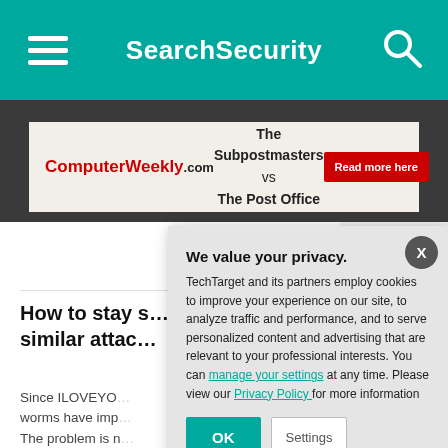SearchSecurity
[Figure (screenshot): Advertisement banner for ComputerWeekly.com showing 'The Subpostmasters vs The Post Office' with a red 'Read more here' button]
How to stay safe from ILOVEYOU and similar attacks
Since ILOVEYOU worms have imp... The problem is n...
We value your privacy. TechTarget and its partners employ cookies to improve your experience on our site, to analyze traffic and performance, and to serve personalized content and advertising that are relevant to your professional interests. You can manage your settings at any time. Please view our Privacy Policy for more information